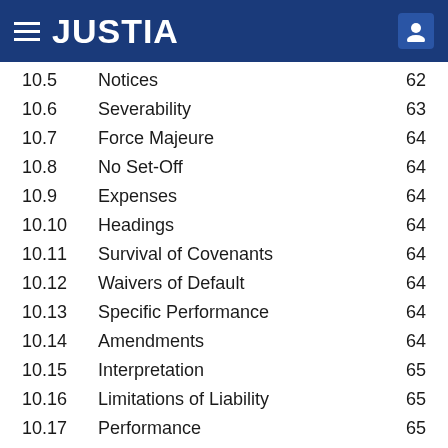JUSTIA
| Section | Title | Page |
| --- | --- | --- |
| 10.5 | Notices | 62 |
| 10.6 | Severability | 63 |
| 10.7 | Force Majeure | 64 |
| 10.8 | No Set-Off | 64 |
| 10.9 | Expenses | 64 |
| 10.10 | Headings | 64 |
| 10.11 | Survival of Covenants | 64 |
| 10.12 | Waivers of Default | 64 |
| 10.13 | Specific Performance | 64 |
| 10.14 | Amendments | 64 |
| 10.15 | Interpretation | 65 |
| 10.16 | Limitations of Liability | 65 |
| 10.17 | Performance | 65 |
| 10.18 | Mutual Drafting | 65 |